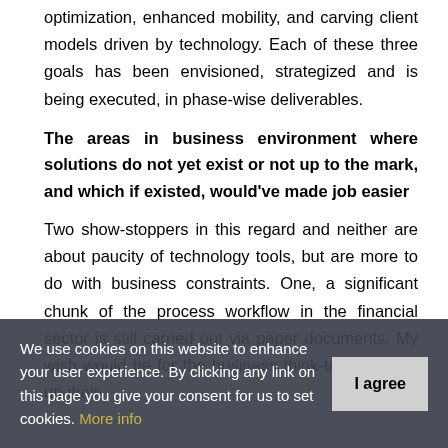optimization, enhanced mobility, and carving client models driven by technology. Each of these three goals has been envisioned, strategized and is being executed, in phase-wise deliverables.
The areas in business environment where solutions do not yet exist or not up to the mark, and which if existed, would've made job easier
Two show-stoppers in this regard and neither are about paucity of technology tools, but are more to do with business constraints. One, a significant chunk of the process workflow in the financial sector is still carried out via paper documents. My wish would be for the business think-tank to open up their
We use cookies on this website to enhance your user experience. By clicking any link on this page you give your consent for us to set cookies. More info